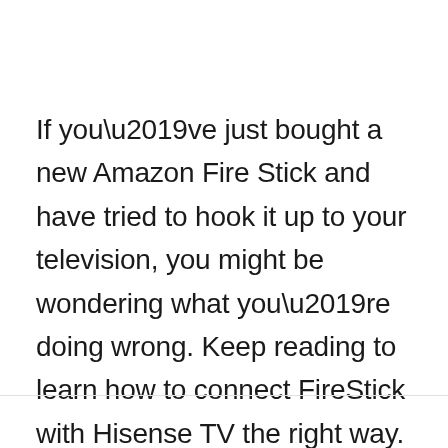If you've just bought a new Amazon Fire Stick and have tried to hook it up to your television, you might be wondering what you're doing wrong. Keep reading to learn how to connect FireStick with Hisense TV the right way.